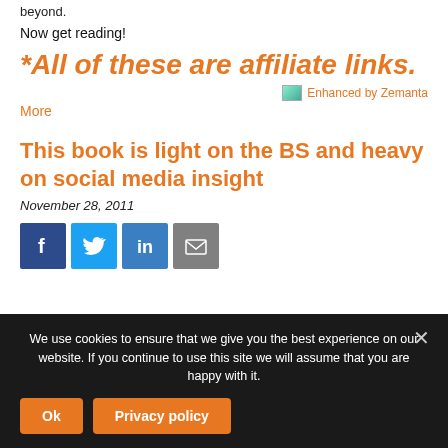beyond.
Now get reading!
*All of these are affiliate links.
[Figure (other): Enhanced by Zemanta badge with small image icon and orange text]
More
This book is light on the BS and heavy on social media insight
November 28, 2011
[Figure (other): Social sharing icons: Facebook (dark blue), Twitter (light blue), LinkedIn (blue), Email (grey)]
We use cookies to ensure that we give you the best experience on our website. If you continue to use this site we will assume that you are happy with it.
Ok   Privacy policy